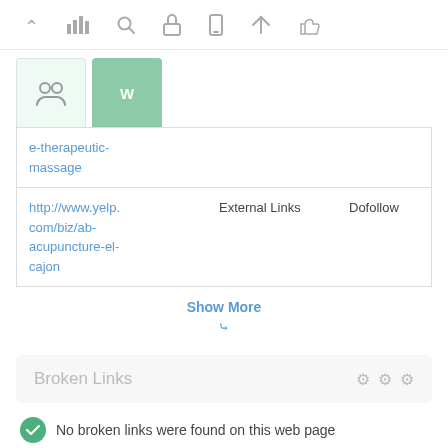[Figure (screenshot): Toolbar with navigation icons: up arrow, bar chart, search, pointer, mobile, send, thumbs up]
[Figure (screenshot): Two tabs: inactive group icon tab and active green tab]
| e-therapeutic-massage |  |  |
| http://www.yelp.com/biz/ab-acupuncture-el-cajon | External Links | Dofollow |
Show More
Broken Links
No broken links were found on this web page